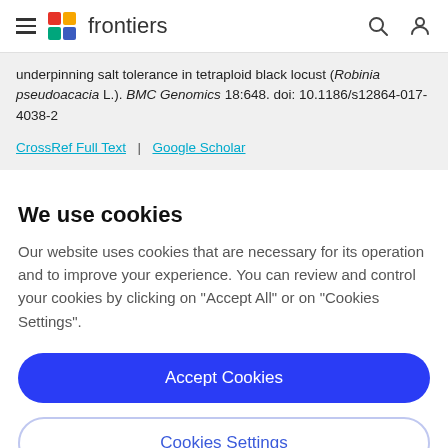frontiers
underpinning salt tolerance in tetraploid black locust (Robinia pseudoacacia L.). BMC Genomics 18:648. doi: 10.1186/s12864-017-4038-2
CrossRef Full Text | Google Scholar
We use cookies
Our website uses cookies that are necessary for its operation and to improve your experience. You can review and control your cookies by clicking on "Accept All" or on "Cookies Settings".
Accept Cookies
Cookies Settings